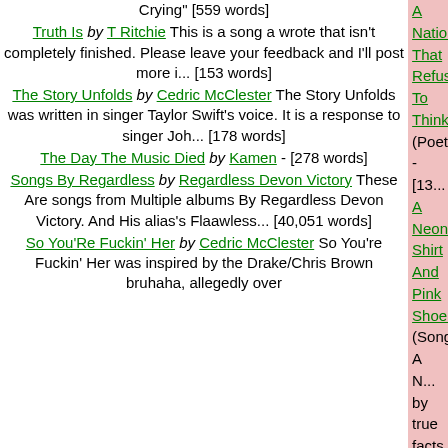Crying" [559 words]
Truth Is by T Ritchie This is a song a wrote that isn't completely finished. Please leave your feedback and I'll post more i... [153 words]
The Story Unfolds by Cedric McClester The Story Unfolds was written in singer Taylor Swift's voice. It is a response to singer Joh... [178 words]
The Day The Music Died by Kamen - [278 words]
Songs By Regardless by Regardless Devon Victory These Are songs from Multiple albums By Regardless Devon Victory. And His alias's Flaawless... [40,051 words]
So You'Re Fuckin' Her by Cedric McClester So You're Fuckin' Her was inspired by the Drake/Chris Brown bruhaha, allegedly over
A Nation That Refuses To Think (Poetry) - [13...
A Neon Shirt And Pink Shoelaces (Songs) A N... by true facts. [205 words]
A New Black Planet (Songs) A New Black Pla... neo-racism. [248 words]
A New Religion (Songs) A New Religion is a s...
A One Act Tragedy (Songs) - [198 words]
A Painful Thought (Songs) A Painful Thought... scene from a cable show called The Big C. [1...
A Place To Belong (Songs) A Place To Belong... [178 words]
A Predilection Or A Disease? (Poetry) - [79 w...
A President... (Poetry) - [74 words]
A President Who Won'T Relent (Poetry) - [99...
A Reactionary Reacts (Songs) - [203 words]
A Revelation (Songs) - [235 words]
A Revolution Here And Now (Poetry) - [181 w...
A Rush To Judgment (Songs) - [186 words]
A Sad, Sad, Sad Situation (Songs) A Sad Sac... [277 words]
A Serious Heart Condition (Songs) A Serious...
A Simple Message (Songs) A Simple Messag... Janelle Monae. [386 words]
A Simple Song (Songs) A Simple Song was i... It's Me, though the music should be totally diff...
A Sin Is A Sin (Songs) A Sin Is A Sin addresse...